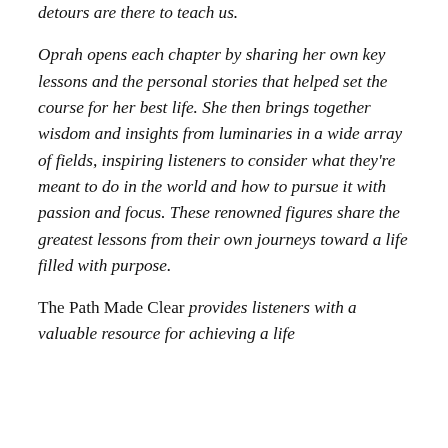detours are there to teach us.
Oprah opens each chapter by sharing her own key lessons and the personal stories that helped set the course for her best life. She then brings together wisdom and insights from luminaries in a wide array of fields, inspiring listeners to consider what they're meant to do in the world and how to pursue it with passion and focus. These renowned figures share the greatest lessons from their own journeys toward a life filled with purpose.
The Path Made Clear provides listeners with a valuable resource for achieving a life